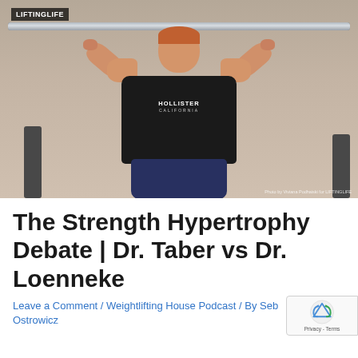[Figure (photo): Athlete in a black Hollister California t-shirt performing an overhead press with a barbell in a gym setting. LIFTINGLIFE logo visible in top-left corner. Photo credit text visible in bottom-right corner.]
The Strength Hypertrophy Debate | Dr. Taber vs Dr. Loenneke
Leave a Comment / Weightlifting House Podcast / By Seb Ostrowicz